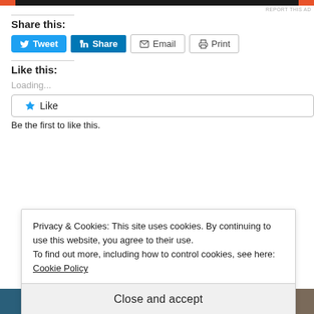[Figure (other): Ad banner strip with orange and black colors]
REPORT THIS AD
Share this:
[Figure (other): Social share buttons: Tweet, Share (LinkedIn), Email, Print]
Like this:
Loading...
[Figure (other): Like button with star icon]
Be the first to like this.
Privacy & Cookies: This site uses cookies. By continuing to use this website, you agree to their use.
To find out more, including how to control cookies, see here:
Cookie Policy
Close and accept